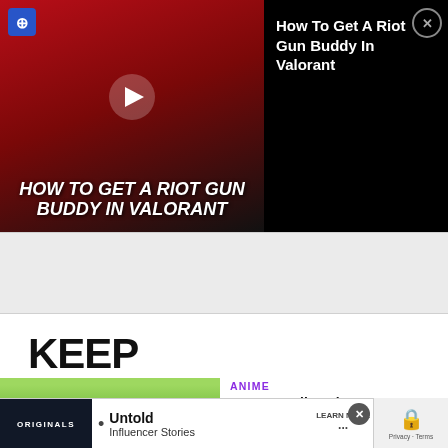[Figure (screenshot): Video player thumbnail showing Valorant animation with 'HOW TO GET A RIOT GUN BUDDY IN VALORANT' overlay text and play button]
How To Get A Riot Gun Buddy In Valorant
[Figure (screenshot): Gray advertisement/spacer block]
KEEP READING
[Figure (screenshot): Anime screenshot showing Spy x Family characters in an outdoor scene]
ANIME
Spy x Family anime announces Part 2 re
[Figure (screenshot): Advertisement banner with Originals logo, Untold Influencer Stories text, Learn More button, close button, and reCAPTCHA widget]